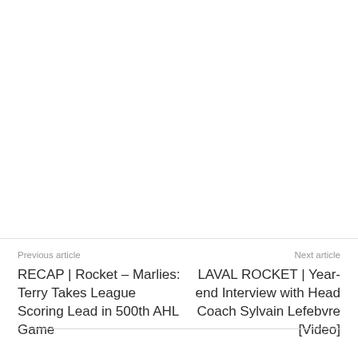Previous article
Next article
RECAP | Rocket – Marlies: Terry Takes League Scoring Lead in 500th AHL Game
LAVAL ROCKET | Year-end Interview with Head Coach Sylvain Lefebvre [Video]